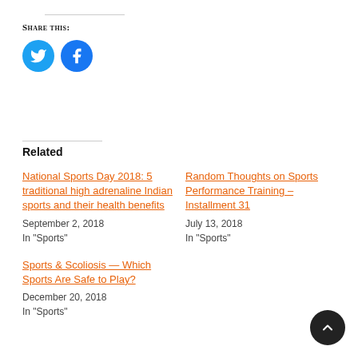Share this:
[Figure (other): Twitter and Facebook social share icon buttons (circular blue icons)]
Related
National Sports Day 2018: 5 traditional high adrenaline Indian sports and their health benefits
September 2, 2018
In "Sports"
Random Thoughts on Sports Performance Training – Installment 31
July 13, 2018
In "Sports"
Sports & Scoliosis — Which Sports Are Safe to Play?
December 20, 2018
In "Sports"